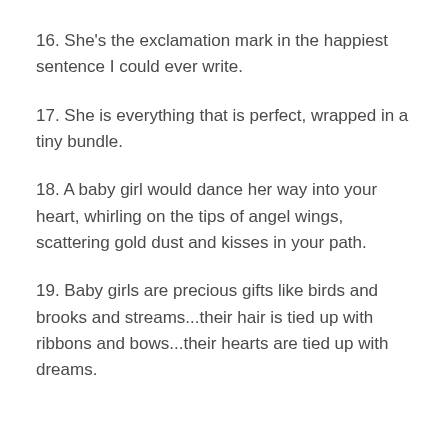16. She's the exclamation mark in the happiest sentence I could ever write.
17. She is everything that is perfect, wrapped in a tiny bundle.
18. A baby girl would dance her way into your heart, whirling on the tips of angel wings, scattering gold dust and kisses in your path.
19. Baby girls are precious gifts like birds and brooks and streams...their hair is tied up with ribbons and bows...their hearts are tied up with dreams.